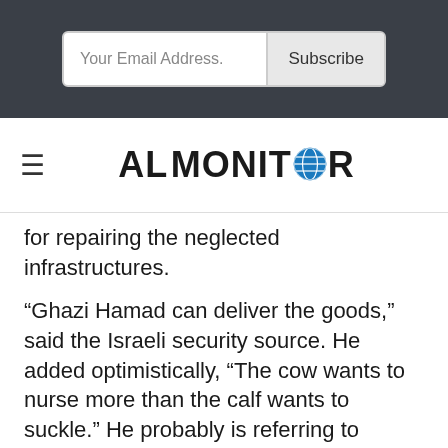[Figure (screenshot): Email subscription bar with 'Your Email Address.' input field and 'Subscribe' button on dark background]
[Figure (logo): AL-MONITOR logo with globe icon replacing the letter O, with hamburger menu icon to the left]
for repairing the neglected infrastructures.
“Ghazi Hamad can deliver the goods,” said the Israeli security source. He added optimistically, “The cow wants to nurse more than the calf wants to suckle.” He probably is referring to Israel, which views the restoration of the electrical system in the Gaza Strip as a supreme security interest of its own.